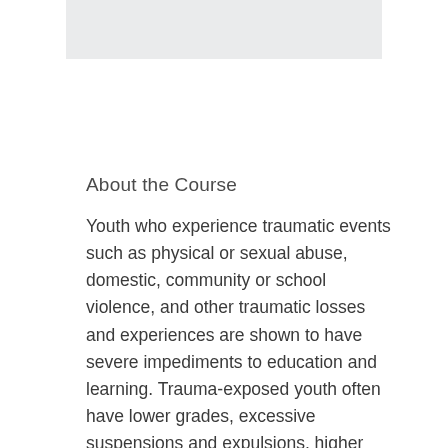[Figure (other): Gray rectangular image placeholder at top of page]
About the Course
Youth who experience traumatic events such as physical or sexual abuse, domestic, community or school violence, and other traumatic losses and experiences are shown to have severe impediments to education and learning. Trauma-exposed youth often have lower grades, excessive suspensions and expulsions, higher levels of aggression, assaultive and disruptive behaviors, as well as